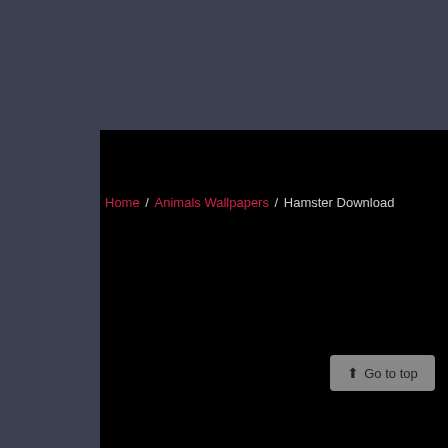Home / Animals Wallpapers / Hamster Download
⬆ Go to top